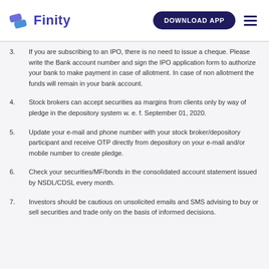Finity — DOWNLOAD APP
3. If you are subscribing to an IPO, there is no need to issue a cheque. Please write the Bank account number and sign the IPO application form to authorize your bank to make payment in case of allotment. In case of non allotment the funds will remain in your bank account.
4. Stock brokers can accept securities as margins from clients only by way of pledge in the depository system w. e. f. September 01, 2020.
5. Update your e-mail and phone number with your stock broker/depository participant and receive OTP directly from depository on your e-mail and/or mobile number to create pledge.
6. Check your securities/MF/bonds in the consolidated account statement issued by NSDL/CDSL every month.
7. Investors should be cautious on unsolicited emails and SMS advising to buy or sell securities and trade only on the basis of informed decisions.